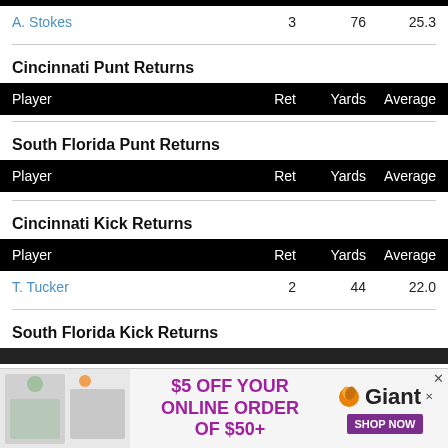| Player | Ret | Yards | Average |
| --- | --- | --- | --- |
| A. Stokes | 3 | 76 | 25.3 |
Cincinnati Punt Returns
| Player | Ret | Yards | Average |
| --- | --- | --- | --- |
South Florida Punt Returns
| Player | Ret | Yards | Average |
| --- | --- | --- | --- |
Cincinnati Kick Returns
| Player | Ret | Yards | Average |
| --- | --- | --- | --- |
| T. Tucker | 2 | 44 | 22.0 |
South Florida Kick Returns
[Figure (other): Advertisement banner for Giant supermarket: $5 OFF YOUR ONLINE ORDER OF $50+ with SHOP NOW button]